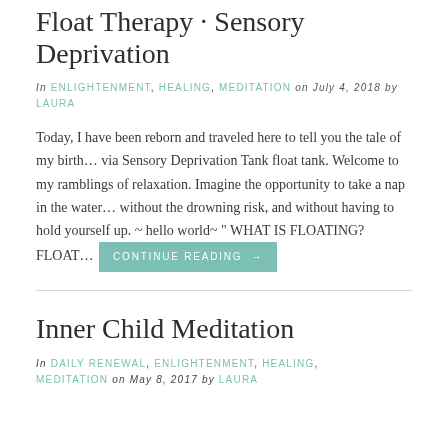Float Therapy · Sensory Deprivation
In ENLIGHTENMENT, HEALING, MEDITATION on July 4, 2018 by LAURA
Today, I have been reborn and traveled here to tell you the tale of my birth… via Sensory Deprivation Tank float tank. Welcome to my ramblings of relaxation. Imagine the opportunity to take a nap in the water… without the drowning risk, and without having to hold yourself up. ~ hello world~ " WHAT IS FLOATING? FLOAT… CONTINUE READING →
Inner Child Meditation
In DAILY RENEWAL, ENLIGHTENMENT, HEALING, MEDITATION on May 8, 2017 by LAURA